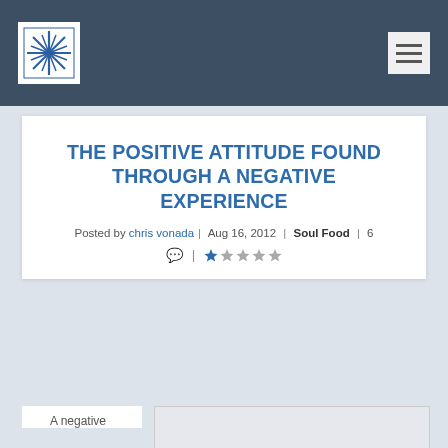THE POSITIVE ATTITUDE FOUND THROUGH A NEGATIVE EXPERIENCE
Posted by chris vonada | Aug 16, 2012 | Soul Food | 6
A negative